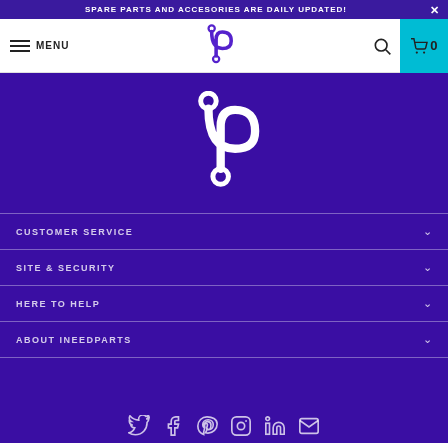SPARE PARTS AND ACCESORIES ARE DAILY UPDATED!
MENU
[Figure (logo): iNeedParts logo - stylized N with circular elements, white on purple background]
CUSTOMER SERVICE
SITE & SECURITY
HERE TO HELP
ABOUT INEEDPARTS
[Figure (illustration): Social media icons row: Twitter, Facebook, Pinterest, Instagram, LinkedIn, Email]